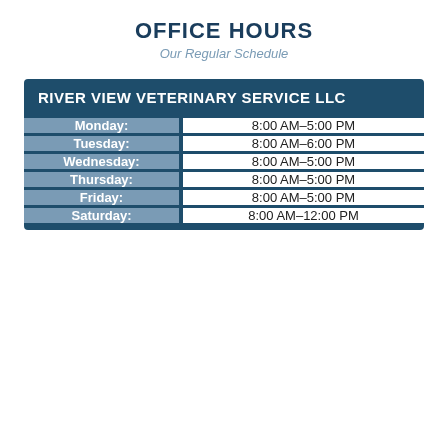OFFICE HOURS
Our Regular Schedule
| Day | Hours |
| --- | --- |
| Monday: | 8:00 AM–5:00 PM |
| Tuesday: | 8:00 AM–6:00 PM |
| Wednesday: | 8:00 AM–5:00 PM |
| Thursday: | 8:00 AM–5:00 PM |
| Friday: | 8:00 AM–5:00 PM |
| Saturday: | 8:00 AM–12:00 PM |